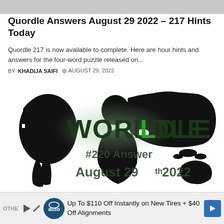Quordle Answers August 29 2022 – 217 Hints Today
Quordle 217 is now available to complete. Here are hour hints and answers for the four-word puzzle released on...
BY KHADIJA SAIFI  © AUGUST 29, 2022
[Figure (photo): Worldle game logo showing a world map silhouette in black with green text reading 'WORLDLE' and subtitle '#220 Answer August 29th 2022']
Up To $110 Off Instantly on New Tires + $40 Off Alignments